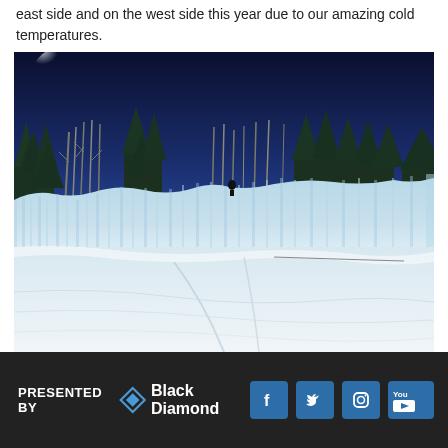east side and on the west side this year due to our amazing cold temperatures.
[Figure (photo): Wide-angle outdoor winter photograph showing a large snow/ice formation or halfpipe wall with blue-tinted ice texture, bare trees and evergreens in the background against a deep blue sky, and a snowy foreground with tracks in the snow. A small figure is visible near the top of the ice wall.]
PRESENTED BY Black Diamond [social icons: Facebook, Twitter, Instagram, YouTube]